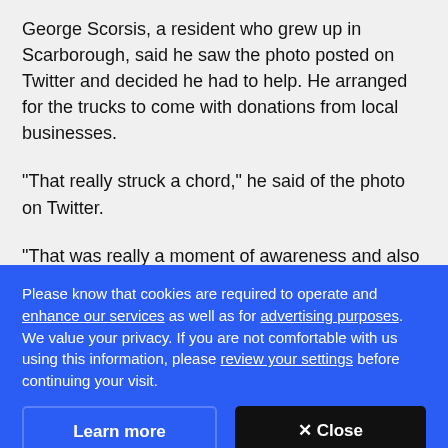George Scorsis, a resident who grew up in Scarborough, said he saw the photo posted on Twitter and decided he had to help. He arranged for the trucks to come with donations from local businesses.
"That really struck a chord," he said of the photo on Twitter.
"That was really a moment of awareness and also a call
Please know that cookies are required to operate and enhance our services as well as for advertising purposes. We value your privacy. If you are not comfortable with us using this information, please review your settings before continuing your visit.